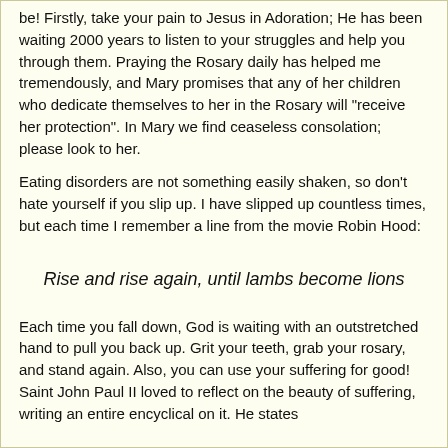be! Firstly, take your pain to Jesus in Adoration; He has been waiting 2000 years to listen to your struggles and help you through them. Praying the Rosary daily has helped me tremendously, and Mary promises that any of her children who dedicate themselves to her in the Rosary will "receive her protection". In Mary we find ceaseless consolation; please look to her.
Eating disorders are not something easily shaken, so don't hate yourself if you slip up. I have slipped up countless times, but each time I remember a line from the movie Robin Hood:
Rise and rise again, until lambs become lions
Each time you fall down, God is waiting with an outstretched hand to pull you back up. Grit your teeth, grab your rosary, and stand again. Also, you can use your suffering for good! Saint John Paul II loved to reflect on the beauty of suffering, writing an entire encyclical on it. He states